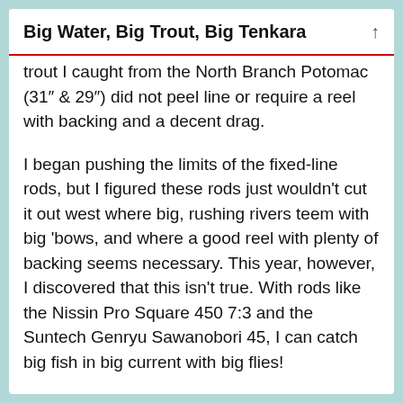Big Water, Big Trout, Big Tenkara
trout I caught from the North Branch Potomac (31″ & 29″) did not peel line or require a reel with backing and a decent drag.
I began pushing the limits of the fixed-line rods, but I figured these rods just wouldn't cut it out west where big, rushing rivers teem with big 'bows, and where a good reel with plenty of backing seems necessary. This year, however, I discovered that this isn't true. With rods like the Nissin Pro Square 450 7:3 and the Suntech Genryu Sawanobori 45, I can catch big fish in big current with big flies!